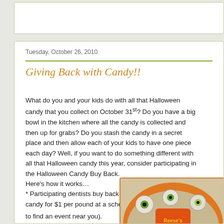Tuesday, October 26, 2010
Giving Back with Candy!!
What do you and your kids do with all that Halloween candy that you collect on October 31st? Do you have a big bowl in the kitchen where all the candy is collected and then up for grabs? Do you stash the candy in a secret place and then allow each of your kids to have one piece each day? Well, if you want to do something different with all that Halloween candy this year, consider participating in the Halloween Candy Buy Back.
Here's how it works…
* Participating dentists buy back kids' unopened Halloween candy for $1 per pound at a scheduled event (click here to find an event near you).
[Figure (photo): A bowl of Halloween candy including Reese's, lollipops, eye-ball candies, and various wrapped sweets in an orange bowl.]